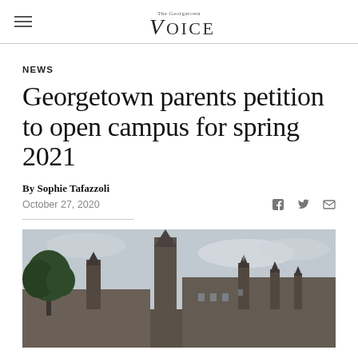The Georgetown Voice
NEWS
Georgetown parents petition to open campus for spring 2021
By Sophie Tafazzoli
October 27, 2020
[Figure (photo): Photo of Georgetown University campus showing historic stone buildings with gothic spires and a tree against an overcast sky]